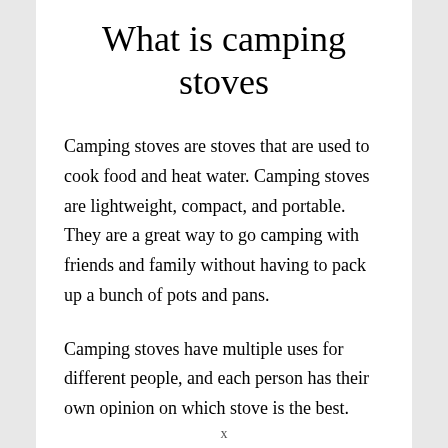What is camping stoves
Camping stoves are stoves that are used to cook food and heat water. Camping stoves are lightweight, compact, and portable. They are a great way to go camping with friends and family without having to pack up a bunch of pots and pans.
Camping stoves have multiple uses for different people, and each person has their own opinion on which stove is the best. Below will show you the best camping stoves...